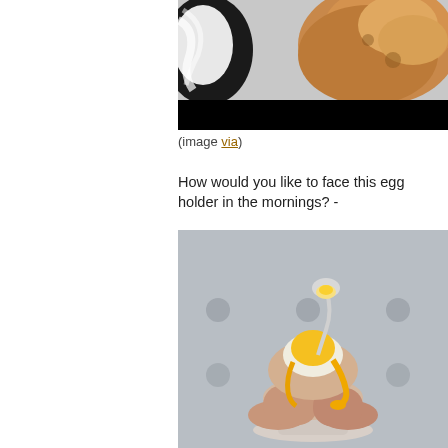[Figure (photo): Top portion of a photo showing a cat with black and white fur and orange/brown fur visible, with black bar at bottom]
(image via)
How would you like to face this egg holder in the mornings? -
[Figure (photo): Close-up photo of a soft-boiled egg being opened with a spoon, egg yolk dripping down the eggshell which is held in an egg cup, blurred background]